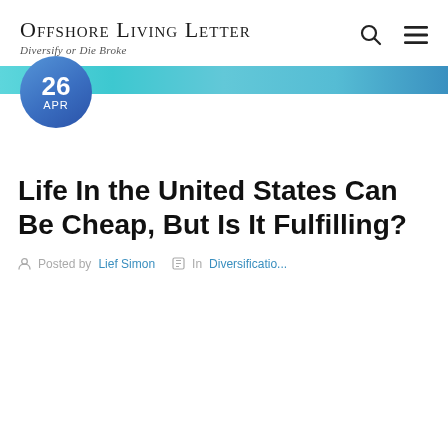Offshore Living Letter — Diversify or Die Broke
[Figure (other): Teal/cyan gradient banner bar with circular date badge showing '26 APR' in blue]
Life In the United States Can Be Cheap, But Is It Fulfilling?
Posted by [person icon] [name] In [tag icon] Diversification